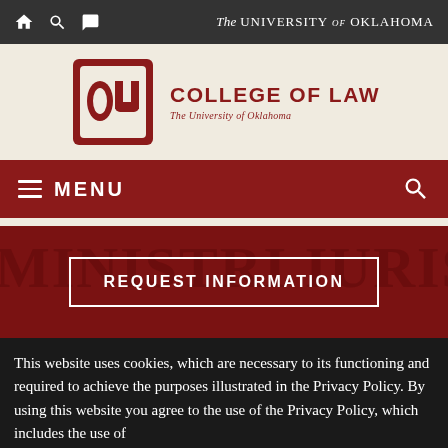The University of Oklahoma
[Figure (logo): University of Oklahoma College of Law logo with OU block letter emblem and text 'COLLEGE OF LAW – The University of Oklahoma']
MENU
[Figure (screenshot): Hero background with Latin text 'MINISTRI IURIS FIDE' watermark in dark red]
REQUEST INFORMATION
This website uses cookies, which are necessary to its functioning and required to achieve the purposes illustrated in the Privacy Policy. By using this website you agree to the use of the Privacy Policy, which includes the use of